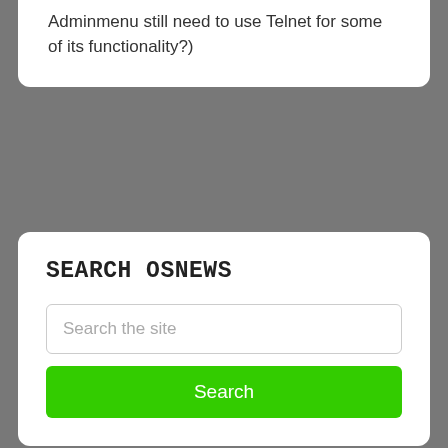Adminmenu still need to use Telnet for some of its functionality?)
SEARCH OSNEWS
Search the site
Search
OSNEWS ACCOUNT
Register